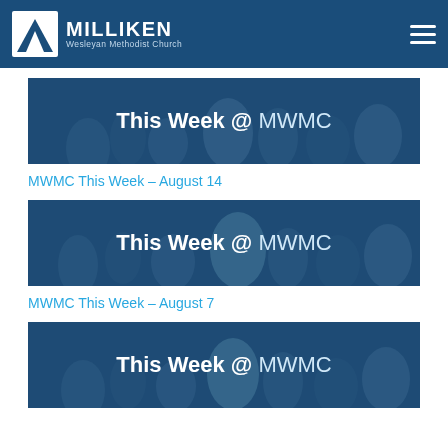Milliken Wesleyan Methodist Church
[Figure (screenshot): Banner image with text 'This Week @ MWMC' over a dark blue tinted photo of church congregation]
MWMC This Week – August 14
[Figure (screenshot): Banner image with text 'This Week @ MWMC' over a dark blue tinted photo of church congregation]
MWMC This Week – August 7
[Figure (screenshot): Banner image with text 'This Week @ MWMC' over a dark blue tinted photo of church congregation]